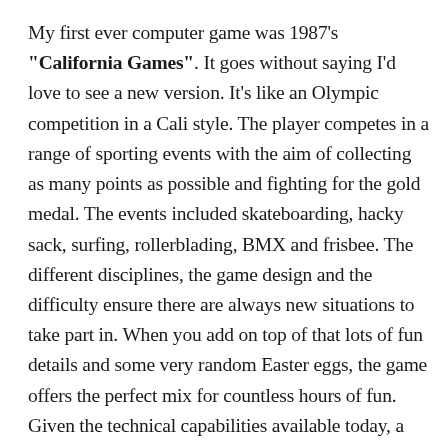My first ever computer game was 1987's "California Games". It goes without saying I'd love to see a new version. It's like an Olympic competition in a Cali style. The player competes in a range of sporting events with the aim of collecting as many points as possible and fighting for the gold medal. The events included skateboarding, hacky sack, surfing, rollerblading, BMX and frisbee. The different disciplines, the game design and the difficulty ensure there are always new situations to take part in. When you add on top of that lots of fun details and some very random Easter eggs, the game offers the perfect mix for countless hours of fun. Given the technical capabilities available today, a modern version would only increase this fun. Anyone who's a hardcore nostalgic should definitely pop by playclassic.games, where you can play the original right in your browser. It's a dream!